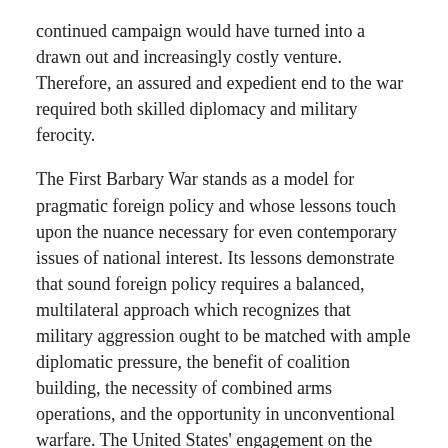continued campaign would have turned into a drawn out and increasingly costly venture. Therefore, an assured and expedient end to the war required both skilled diplomacy and military ferocity.
The First Barbary War stands as a model for pragmatic foreign policy and whose lessons touch upon the nuance necessary for even contemporary issues of national interest. Its lessons demonstrate that sound foreign policy requires a balanced, multilateral approach which recognizes that military aggression ought to be matched with ample diplomatic pressure, the benefit of coalition building, the necessity of combined arms operations, and the opportunity in unconventional warfare. The United States' engagement on the shores of Tripoli echoes in future engagements from Nicaragua to China and numerous other small wars which act as an indelible mark on American foreign policy. These engagements range in scope and outcome, geography and foe, but regardless, it is upon the bold precedent set by President Jefferson during the First Barbary War that all proceeding American small wars stand.